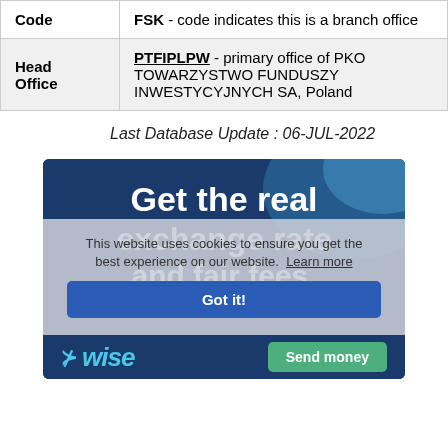| Field | Value |
| --- | --- |
| Code | FSK - code indicates this is a branch office |
| Head Office | PTFIPLPW - primary office of PKO TOWARZYSTWO FUNDUSZY INWESTYCYJNYCH SA, Poland |
Last Database Update : 06-JUL-2022
[Figure (screenshot): Wise advertisement banner showing 'Get the real exchange rate and fair fees.' with a cookie consent overlay and a 'Got it!' button, and Wise logo with 'Send money' button at the bottom.]